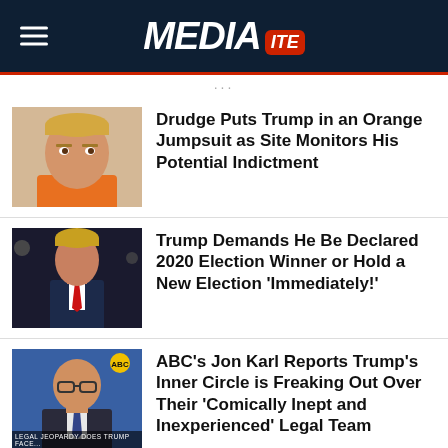MEDIAITE
Drudge Puts Trump in an Orange Jumpsuit as Site Monitors His Potential Indictment
Trump Demands He Be Declared 2020 Election Winner or Hold a New Election 'Immediately!'
ABC's Jon Karl Reports Trump's Inner Circle is Freaking Out Over Their 'Comically Inept and Inexperienced' Legal Team
'This Is Not a Drill': Ari Melber Warns